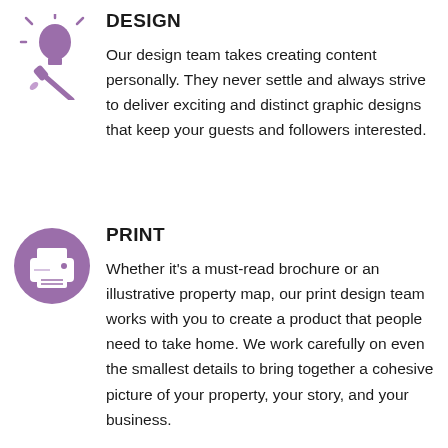[Figure (illustration): Purple light bulb with paintbrush icon representing design]
DESIGN
Our design team takes creating content personally. They never settle and always strive to deliver exciting and distinct graphic designs that keep your guests and followers interested.
[Figure (illustration): Purple circle with white printer icon representing print]
PRINT
Whether it’s a must-read brochure or an illustrative property map, our print design team works with you to create a product that people need to take home. We work carefully on even the smallest details to bring together a cohesive picture of your property, your story, and your business.